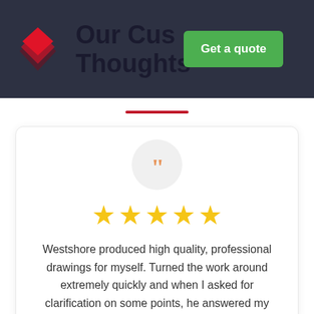[Figure (logo): Red diamond/rhombus layered logo icon in top left of dark header]
Our Customer Thoughts
[Figure (other): Green 'Get a quote' button in upper right of header]
[Figure (other): Red horizontal divider line below title]
[Figure (other): Review card with quotation mark circle, five gold stars, and review text: Westshore produced high quality, professional drawings for myself. Turned the work around extremely quickly and when I asked for clarification on some points, he answered my]